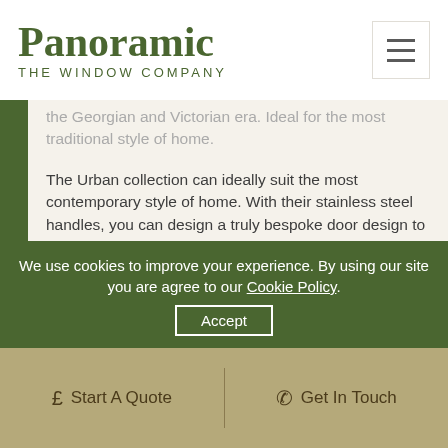Panoramic THE WINDOW COMPANY
the Georgian and Victorian era. Ideal for the most traditional style of home.
The Urban collection can ideally suit the most contemporary style of home. With their stainless steel handles, you can design a truly bespoke door design to make a stylish statement to your modern home.
The Country collection is a composite door range to channel your country charm into. In a choice of tones to ideally suit your surroundings, our country doors can give you the freedom you need to choose the right door for your home.
We use cookies to improve your experience. By using our site you are agree to our Cookie Policy. Accept
£ Start A Quote   Get In Touch